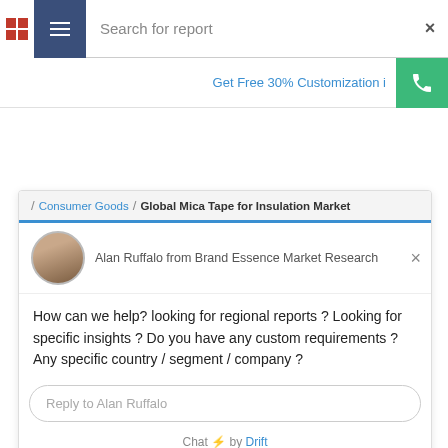Search for report
Get Free 30% Customization i
/ Consumer Goods / Global Mica Tape for Insulation Market
Alan Ruffalo from Brand Essence Market Research
How can we help? looking for regional reports ? Looking for specific insights ? Do you have any custom requirements ? Any specific country / segment / company ?
Reply to Alan Ruffalo
Chat ⚡ by Drift